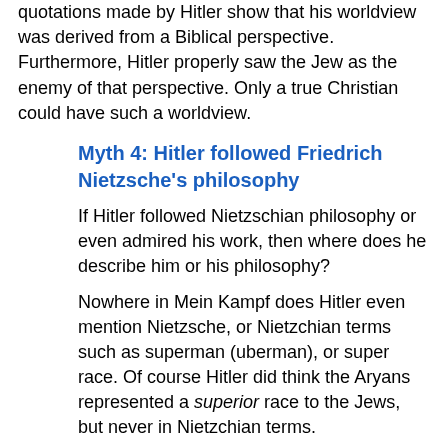quotations made by Hitler show that his worldview was derived from a Biblical perspective. Furthermore, Hitler properly saw the Jew as the enemy of that perspective. Only a true Christian could have such a worldview.
Myth 4: Hitler followed Friedrich Nietzsche's philosophy
If Hitler followed Nietzschian philosophy or even admired his work, then where does he describe him or his philosophy?
Nowhere in Mein Kampf does Hitler even mention Nietzsche, or Nietzchian terms such as superman (uberman), or super race. Of course Hitler did think the Aryans represented a superior race to the Jews, but never in Nietzchian terms.
The Bible teaches that the Aryan, or Adamic race, is a superior race to the Jews, who are derived from a race of devils, serpents, or vipers. However superior in the Biblical